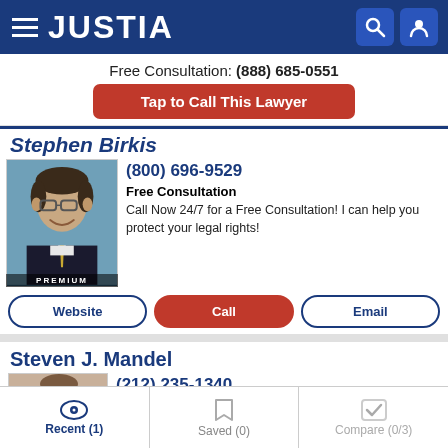JUSTIA
Free Consultation: (888) 685-0551
Tap to Call This Lawyer
Stephen Birkis
(800) 696-9529
Free Consultation
Call Now 24/7 for a Free Consultation! I can help you protect your legal rights!
Website
Call
Email
Steven J. Mandel
(212) 235-1340
Recent (1)   Saved (0)   Compare (0/3)